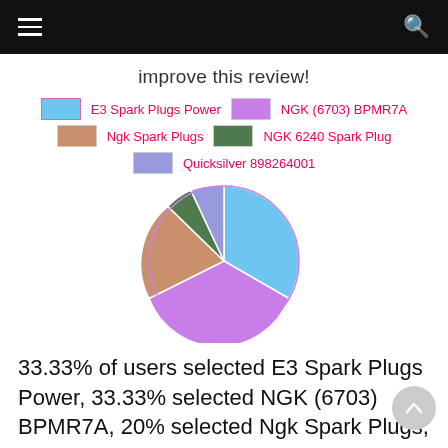improve this review!
[Figure (pie-chart): Spark Plug Selection]
33.33% of users selected E3 Spark Plugs Power, 33.33% selected NGK (6703) BPMR7A, 20% selected Ngk Spark Plugs, 6.67%